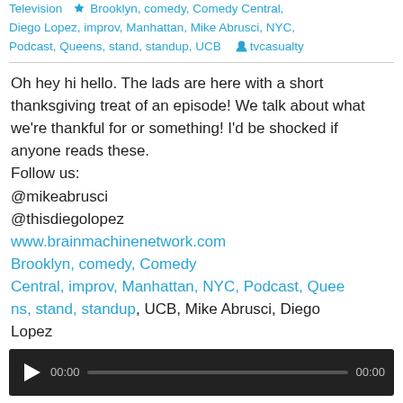Television  Brooklyn, comedy, Comedy Central, Diego Lopez, improv, Manhattan, Mike Abrusci, NYC, Podcast, Queens, stand, standup, UCB   tvcasualty
Oh hey hi hello. The lads are here with a short thanksgiving treat of an episode! We talk about what we're thankful for or something! I'd be shocked if anyone reads these.
Follow us:
@mikeabrusci
@thisdiegolopez
www.brainmachinenetwork.com
Brooklyn, comedy, Comedy Central, improv, Manhattan, NYC, Podcast, Queens, stand, standup, UCB, Mike Abrusci, Diego Lopez
[Figure (other): Audio player with play button, 00:00 timestamp, progress bar, and 00:00 end time on dark background]
Podcast: Play in new window | Download
Subscribe: RSS | More